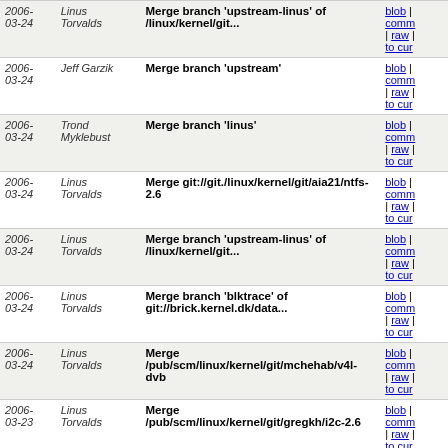| Date | Author | Message | Links |
| --- | --- | --- | --- |
| 2006-03-24 | Linus Torvalds | Merge branch 'upstream-linus' of /linux/kernel/git... | blob | comm | raw | to cur |
| 2006-03-24 | Jeff Garzik | Merge branch 'upstream' | blob | comm | raw | to cur |
| 2006-03-24 | Trond Myklebust | Merge branch 'linus' | blob | comm | raw | to cur |
| 2006-03-24 | Linus Torvalds | Merge git://git./linux/kernel/git/aia21/ntfs-2.6 | blob | comm | raw | to cur |
| 2006-03-24 | Linus Torvalds | Merge branch 'upstream-linus' of /linux/kernel/git... | blob | comm | raw | to cur |
| 2006-03-24 | Linus Torvalds | Merge branch 'blktrace' of git://brick.kernel.dk/data... | blob | comm | raw | to cur |
| 2006-03-24 | Linus Torvalds | Merge /pub/scm/linux/kernel/git/mchehab/v4l-dvb | blob | comm | raw | to cur |
| 2006-03-23 | Linus Torvalds | Merge /pub/scm/linux/kernel/git/gregkh/i2c-2.6 | blob | comm | raw | to cur |
| 2006-03-23 | Linus Torvalds | Merge /pub/scm/linux/kernel/git/gregkh/pci-2.6 | blob | comm | raw | to cur |
| 2006-03-23 | Linus Torvalds | Merge /pub/scm/linux/kernel/git/davem/net-2.6 | blob | comm | raw | to cur |